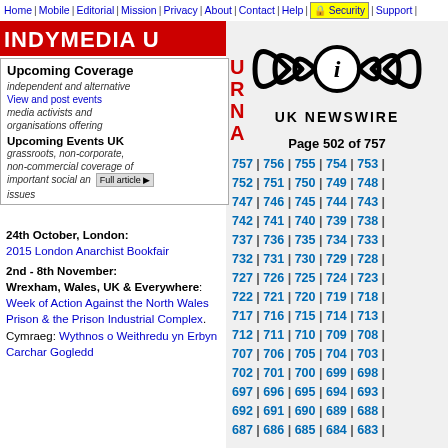Home | Mobile | Editorial | Mission | Privacy | About | Contact | Help | Security | Support
[Figure (logo): IndyMedia UK banner with red background and stylized text]
[Figure (logo): IndyMedia UK Newswire logo with radio wave icon and text 'UK NEWSWIRE']
Upcoming Coverage
independent and alternative media activists and organisations offering grassroots, non-corporate, non-commercial coverage of important social and issues
Upcoming Events UK
24th October, London: 2015 London Anarchist Bookfair
2nd - 8th November: Wrexham, Wales, UK & Everywhere: Week of Action Against the North Wales Prison & the Prison Industrial Complex. Cymraeg: Wythnos o Weithredu yn Erbyn Carchar Gogledd
UK Newswire Reports Archive
32... #6... Out No - So Wa & An
Page 502 of 757
757 | 756 | 755 | 754 | 753 | 752 | 751 | 750 | 749 | 748 | 747 | 746 | 745 | 744 | 743 | 742 | 741 | 740 | 739 | 738 | 737 | 736 | 735 | 734 | 733 | 732 | 731 | 730 | 729 | 728 | 727 | 726 | 725 | 724 | 723 | 722 | 721 | 720 | 719 | 718 | 717 | 716 | 715 | 714 | 713 | 712 | 711 | 710 | 709 | 708 | 707 | 706 | 705 | 704 | 703 | 702 | 701 | 700 | 699 | 698 | 697 | 696 | 695 | 694 | 693 | 692 | 691 | 690 | 689 | 688 | 687 | 686 | 685 | 684 | 683 |